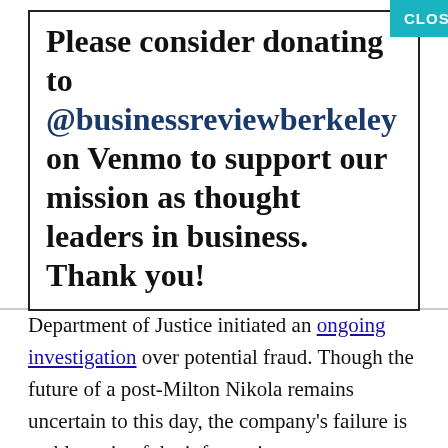Please consider donating to @businessreviewberkeley on Venmo to support our mission as thought leaders in business. Thank you!
Department of Justice initiated an ongoing investigation over potential fraud. Though the future of a post-Milton Nikola remains uncertain to this day, the company's failure is emblematic of the information asymmetry inherent in tech sectors including EV. Investors, while financially acute, oftentimes have difficulties grasping the technical significance of a product. In a high